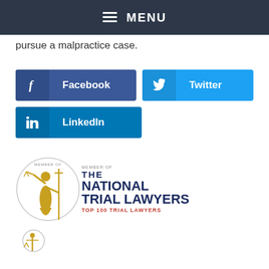☰ MENU
pursue a malpractice case.
[Figure (other): Social share buttons: Facebook, Twitter, LinkedIn]
[Figure (logo): National Trial Lawyers Top 100 Trial Lawyers badge with Lady Justice figure]
[Figure (logo): Partial second badge logo at bottom]